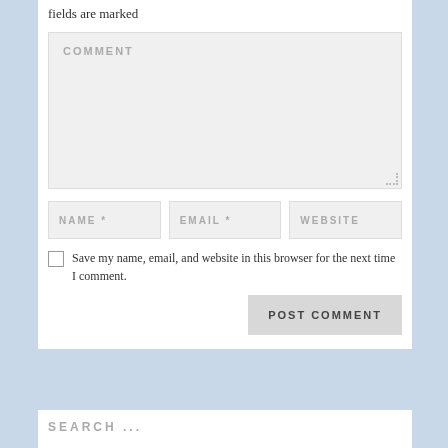fields are marked
[Figure (screenshot): Comment text area input field with placeholder text COMMENT and resize handle]
[Figure (screenshot): Three input fields in a row: NAME *, EMAIL *, WEBSITE]
Save my name, email, and website in this browser for the next time I comment.
POST COMMENT
SEARCH ...